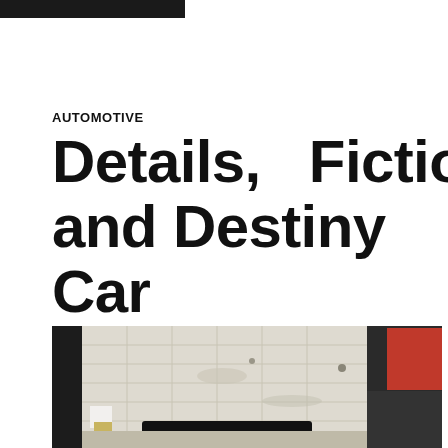AUTOMOTIVE
Details, Fiction and Destiny Car Insurance
[Figure (photo): A vehicle or car part photographed in what appears to be a garage or auto shop setting, with a concrete block wall background, dark vehicle components visible, and a red vehicle partially visible on the right side.]